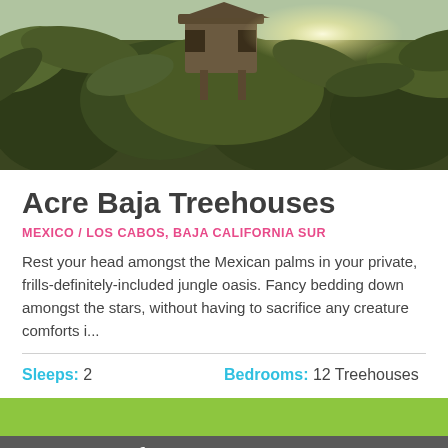[Figure (photo): Aerial/ground view of a treehouse structure among dense Mexican palm trees with sunlight filtering through, tropical jungle setting]
Acre Baja Treehouses
MEXICO / LOS CABOS, BAJA CALIFORNIA SUR
Rest your head amongst the Mexican palms in your private, frills-definitely-included jungle oasis. Fancy bedding down amongst the stars, without having to sacrifice any creature comforts i...
Sleeps: 2   Bedrooms: 12 Treehouses
Company Info